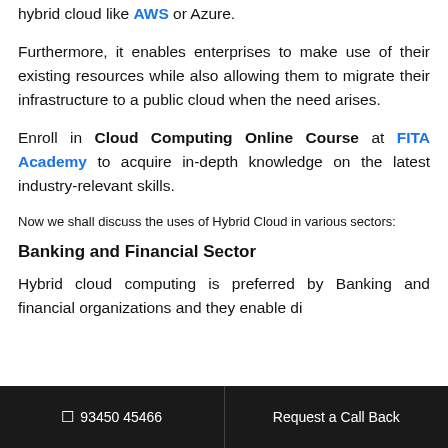hybrid cloud like AWS or Azure.
Furthermore, it enables enterprises to make use of their existing resources while also allowing them to migrate their infrastructure to a public cloud when the need arises.
Enroll in Cloud Computing Online Course at FITA Academy to acquire in-depth knowledge on the latest industry-relevant skills.
Now we shall discuss the uses of Hybrid Cloud in various sectors:
Banking and Financial Sector
Hybrid cloud computing is preferred by Banking and financial organizations and they enable di...
📱 93450 45466   Request a Call Back